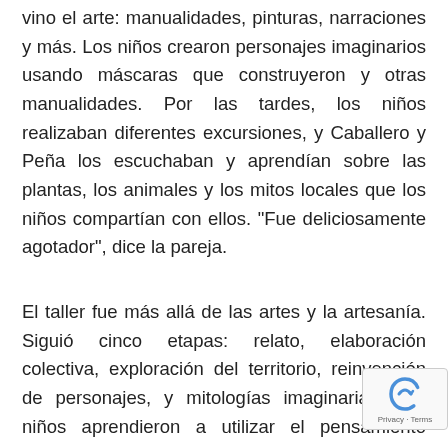vino el arte: manualidades, pinturas, narraciones y más. Los niños crearon personajes imaginarios usando máscaras que construyeron y otras manualidades. Por las tardes, los niños realizaban diferentes excursiones, y Caballero y Peña los escuchaban y aprendían sobre las plantas, los animales y los mitos locales que los niños compartían con ellos. "Fue deliciosamente agotador", dice la pareja.
El taller fue más allá de las artes y la artesanía. Siguió cinco etapas: relato, elaboración colectiva, exploración del territorio, reinvención de personajes, y mitologías imaginarias. Los niños aprendieron a utilizar el pensamiento crítico para analizar el "por qué" de sus propias creaciones. Una vez que sus personajes estuvieron listos tomaron fotografías de las criaturas "mitológicas", y los niños recibieron una copia. La